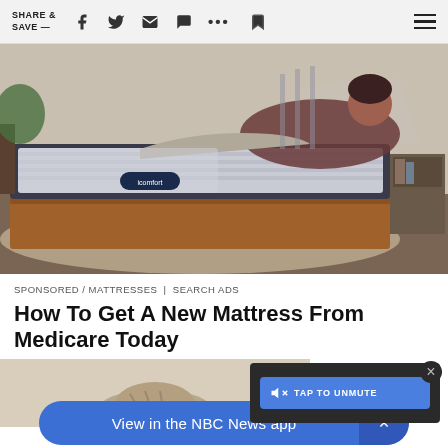SHARE & SAVE —
[Figure (photo): Photo of a person lying on a Serta iComfort adjustable mattress in a bedroom setting. The mattress is raised at the head end. A wooden bed frame and nightstand are visible in the background.]
SPONSORED / MATTRESSES | SEARCH ADS
How To Get A New Mattress From Medicare Today
[Figure (screenshot): Partial view of a second image below the article title, showing what appears to be an animal, likely a cat.]
View in the NBC News app
TAP TO UNMUTE